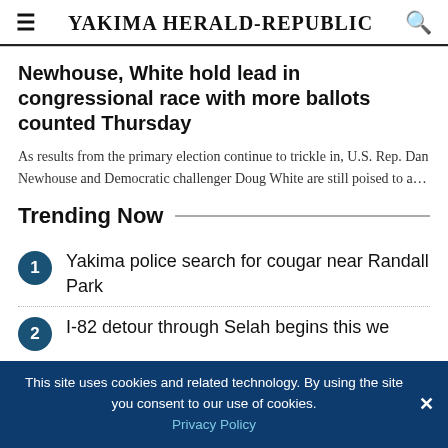Yakima Herald-Republic
Newhouse, White hold lead in congressional race with more ballots counted Thursday
As results from the primary election continue to trickle in, U.S. Rep. Dan Newhouse and Democratic challenger Doug White are still poised to a…
Trending Now
1. Yakima police search for cougar near Randall Park
2. I-82 detour through Selah begins this we
This site uses cookies and related technology. By using the site you consent to our use of cookies. Privacy Policy